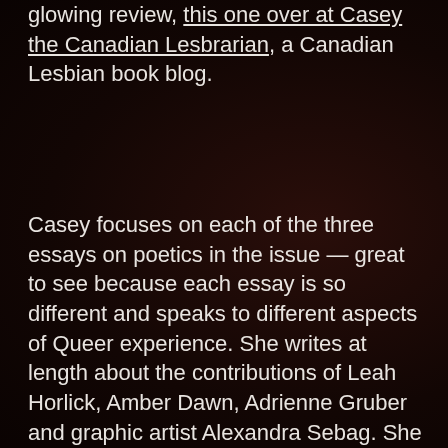glowing review, this one over at Casey the Canadian Lesbrarian, a Canadian Lesbian book blog.
Casey focuses on each of the three essays on poetics in the issue — great to see because each essay is so different and speaks to different aspects of Queer experience. She writes at length about the contributions of Leah Horlick, Amber Dawn, Adrienne Gruber and graphic artist Alexandra Sebag. She writes of her love around "Th...